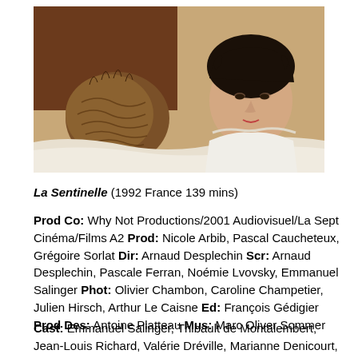[Figure (photo): A young man with dark curly hair in a white shirt rests his head near an aged, shrunken human head or mummy head, lying on white fabric.]
La Sentinelle (1992 France 139 mins)
Prod Co: Why Not Productions/2001 Audiovisuel/La Sept Cinéma/Films A2 Prod: Nicole Arbib, Pascal Caucheteux, Grégoire Sorlat Dir: Arnaud Desplechin Scr: Arnaud Desplechin, Pascale Ferran, Noémie Lvovsky, Emmanuel Salinger Phot: Olivier Chambon, Caroline Champetier, Julien Hirsch, Arthur Le Caisne Ed: François Gédigier Prod Des: Antoine Platteau Mus: Marc Oliver Sommer
Cast: Emmanuel Salinger, Thibault de Montalembert, Jean-Louis Richard, Valérie Dréville, Marianne Denicourt, Jean-Luc